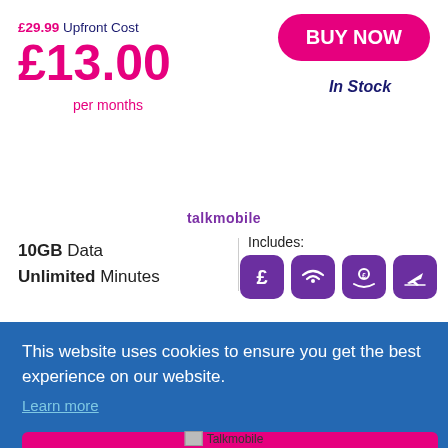£29.99 Upfront Cost
£13.00
per months
BUY NOW
In Stock
talkmobile
Includes:
10GB Data
Unlimited Minutes
[Figure (infographic): Four purple rounded square icons: pound sign, wifi/signal, money hand, airplane departure]
This website uses cookies to ensure you get the best experience on our website.
Learn more
Got It!
Talkmobile